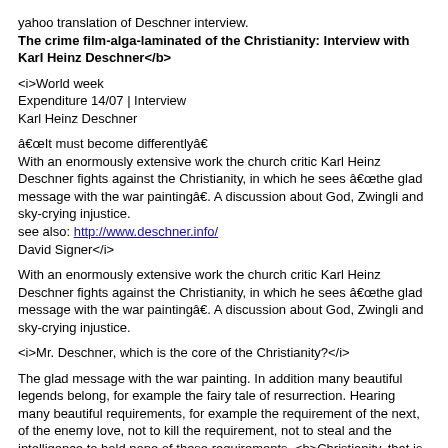yahoo translation of Deschner interview.
<b>The crime film-alga-laminated of the Christianity: Interview with Karl Heinz Deschner</b>
<i>World week
Expenditure 14/07 | Interview
Karl Heinz Deschner</i>
â€œIt must become differentlyâ€
With an enormously extensive work the church critic Karl Heinz Deschner fights against the Christianity, in which he sees â€œthe glad message with the war paintingâ€. A discussion about God, Zwingli and sky-crying injustice.
see also: http://www.deschner.info/
David Signer</i>
With an enormously extensive work the church critic Karl Heinz Deschner fights against the Christianity, in which he sees â€œthe glad message with the war paintingâ€. A discussion about God, Zwingli and sky-crying injustice.
<i>Mr. Deschner, which is the core of the Christianity?</i>
The glad message with the war painting. In addition many beautiful legends belong, for example the fairy tale of resurrection. Hearing many beautiful requirements, for example the requirement of the next, of the enemy love, not to kill the requirement, not to steal and the intelligence to hold none of these requirements. <b>Christianity, that is the Liaison of a singing association with a conflagration.</b>